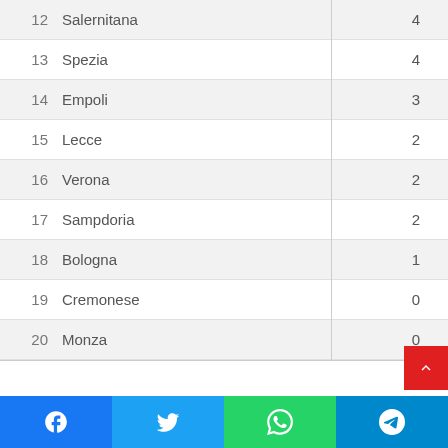| # | Team | Points |
| --- | --- | --- |
| 12 | Salernitana | 4 |
| 13 | Spezia | 4 |
| 14 | Empoli | 3 |
| 15 | Lecce | 2 |
| 16 | Verona | 2 |
| 17 | Sampdoria | 2 |
| 18 | Bologna | 1 |
| 19 | Cremonese | 0 |
| 20 | Monza | 0 |